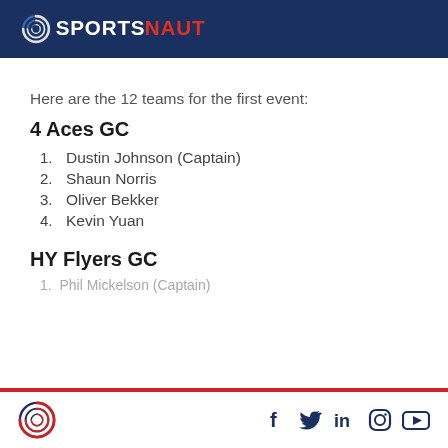SPORTSNAUT
Here are the 12 teams for the first event:
4 Aces GC
1. Dustin Johnson (Captain)
2. Shaun Norris
3. Oliver Bekker
4. Kevin Yuan
HY Flyers GC
Sportsnaut logo and social media icons